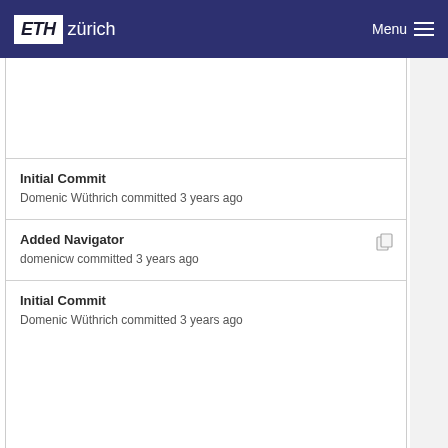ETH zürich — Menu
Initial Commit
Domenic Wüthrich committed 3 years ago
Added Navigator
domenicw committed 3 years ago
Initial Commit
Domenic Wüthrich committed 3 years ago